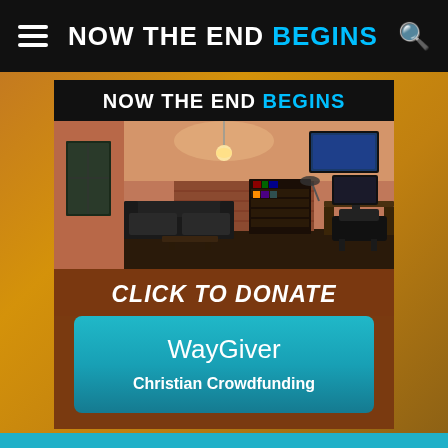NOW THE END BEGINS
[Figure (screenshot): NOW THE END BEGINS website screenshot showing a donation advertisement banner. The banner contains the site logo at top, a photo of an office/studio interior with couches and bookshelves, a 'CLICK TO DONATE' call to action, and a WayGiver Christian Crowdfunding button in teal/cyan.]